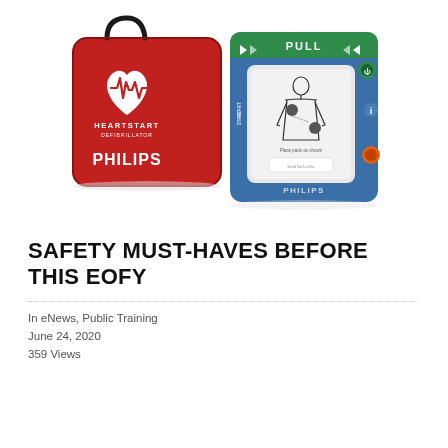[Figure (photo): Photo of a red Philips HeartStart defibrillator carry case (with heart logo and PHILIPS text) alongside a blue Philips HeartStart AED device showing electrode pad placement diagram. Image has white background.]
SAFETY MUST-HAVES BEFORE THIS EOFY
In eNews, Public Training
June 24, 2020
359 Views